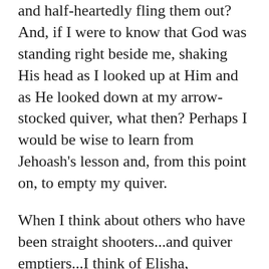and half-heartedly fling them out?  And, if I were to know that God was standing right beside me, shaking His head as I looked up at Him and as He looked down at my arrow-stocked quiver, what then?  Perhaps I would be wise to learn from Jehoash's lesson and, from this point on, to empty my quiver.
When I think about others who have been straight shooters...and quiver emptiers...I think of Elisha, Abraham, Mary Magdalene, and the disciples.  Elisha, who followed in the footsteps of Elijah, was bold enough to ask for a double portion of the power Elijah had.  Now that's shooting a quiver full of arrows!  To have an equal amount could have easily cost him 10-12 arrows, but a double portion?  That took them